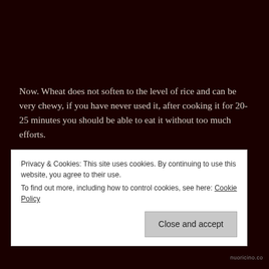Now. Wheat does not soften to the level of rice and can be very chewy, if you have never used it, after cooking it for 20-25 minutes you should be able to eat it without too much efforts.
Wheat is a great alternative to rice.
I server mine hot, topped with the Lamb Kıymalı with yogurt and fresh pomegranates jewels.
I chose to use the pomegranates instead of dry fruits
Privacy & Cookies: This site uses cookies. By continuing to use this website, you agree to their use.
To find out more, including how to control cookies, see here: Cookie Policy
nuoricino.co